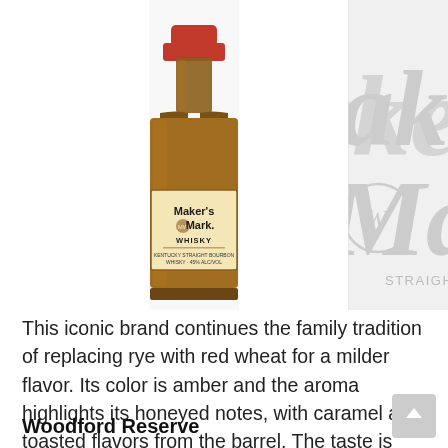[Figure (photo): Left half: Maker's Mark whisky bottle with red wax top and cream label on white background. Right half: Close-up of Maker's Mark logo text in light gray on white, with 'STRAIGHT BOURBON' text visible at bottom.]
This iconic brand continues the family tradition of replacing rye with red wheat for a milder flavor. Its color is amber and the aroma highlights its honeyed notes, with caramel and toasted flavors from the barrel. The taste is sweet, warm and tasty, and it has an intense balsamic mint finish.
Woodford Reserve